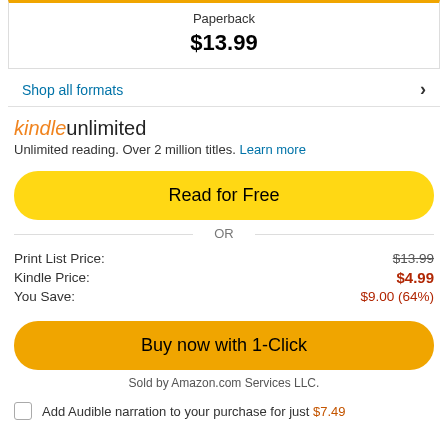Paperback
$13.99
Shop all formats
kindle unlimited
Unlimited reading. Over 2 million titles. Learn more
Read for Free
OR
| Print List Price: | $13.99 |
| Kindle Price: | $4.99 |
| You Save: | $9.00 (64%) |
Buy now with 1-Click
Sold by Amazon.com Services LLC.
Add Audible narration to your purchase for just $7.49